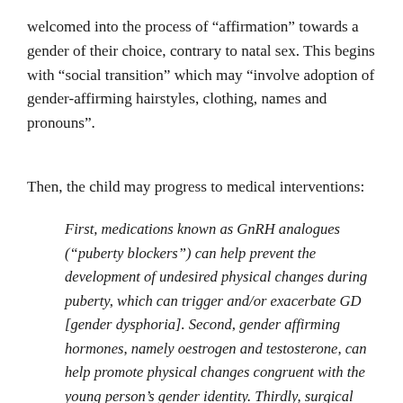welcomed into the process of "affirmation" towards a gender of their choice, contrary to natal sex. This begins with "social transition" which may "involve adoption of gender-affirming hairstyles, clothing, names and pronouns".
Then, the child may progress to medical interventions:
First, medications known as GnRH analogues ("puberty blockers") can help prevent the development of undesired physical changes during puberty, which can trigger and/or exacerbate GD [gender dysphoria]. Second, gender affirming hormones, namely oestrogen and testosterone, can help promote physical changes congruent with the young person's gender identity. Thirdly, surgical procedures, such as chest reconstructive surgery for transmasculine individuals